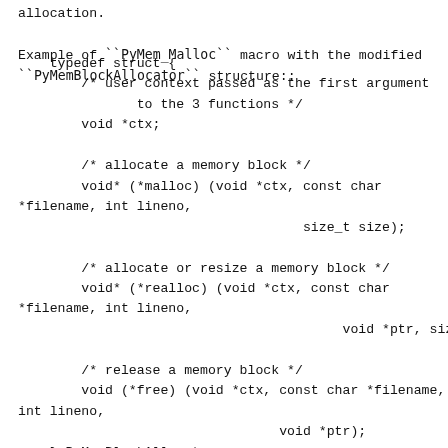allocation.

Example of ``PyMem_Malloc`` macro with the modified ``PyMemBlockAllocator`` structure::
typedef struct {
        /* user context passed as the first argument
               to the 3 functions */
        void *ctx;

        /* allocate a memory block */
        void* (*malloc) (void *ctx, const char *filename, int lineno,
                                    size_t size);

        /* allocate or resize a memory block */
        void* (*realloc) (void *ctx, const char *filename, int lineno,
                                         void *ptr, size_t new_size);

        /* release a memory block */
        void (*free) (void *ctx, const char *filename, int lineno,
                                 void *ptr);
    } PyMemBlockAllocator;

    void* _PyMem_MallocTrace(const char *filename, int lineno,
                                         size_t size);

    /* need also a function for the Python stable ABI
/* need also a function for the Python stable ABI